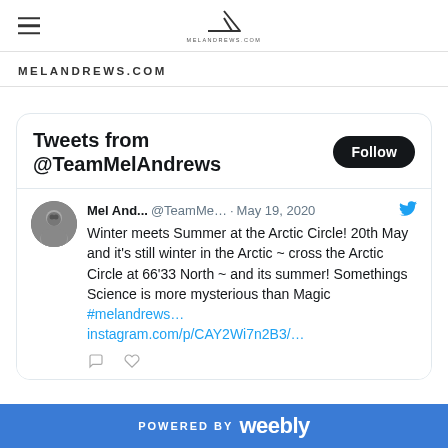[Figure (logo): Mountain/triangle logo with text melandrews.com and hamburger menu icon]
MELANDREWS.COM
Tweets from @TeamMelAndrews
Mel And... @TeamMe... · May 19, 2020 Winter meets Summer at the Arctic Circle! 20th May and it's still winter in the Arctic ~ cross the Arctic Circle at 66'33 North ~ and its summer! Somethings Science is more mysterious than Magic #melandrews… instagram.com/p/CAY2Wi7n2B3/…
POWERED BY weebly